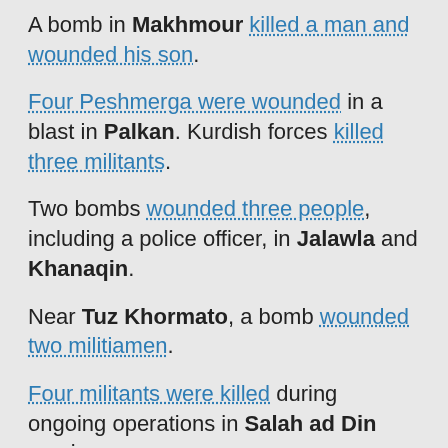A bomb in Makhmour killed a man and wounded his son.
Four Peshmerga were wounded in a blast in Palkan. Kurdish forces killed three militants.
Two bombs wounded three people, including a police officer, in Jalawla and Khanaqin.
Near Tuz Khormato, a bomb wounded two militiamen.
Four militants were killed during ongoing operations in Salah ad Din province.
An operation in Qara Tapa left three militants dead. One of them was an ISIS commander.
Turkey reported killing 23 guerrillas belonging to the Kurdistan Workers' Party (P.K.K.) in airstrikes over